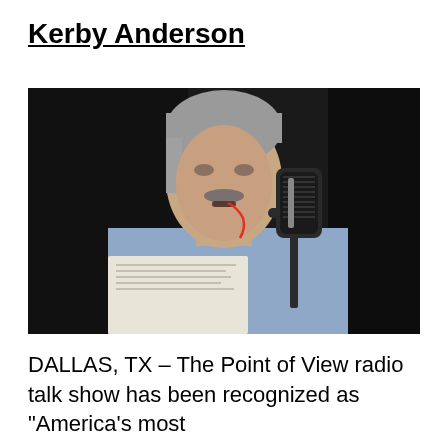Kerby Anderson
[Figure (photo): An older man with gray hair and a mustache speaking into a black microphone in a radio studio setting. He is wearing a light blue button-up shirt and holding papers. A red cable is visible near his ear. The background is dark.]
DALLAS, TX – The Point of View radio talk show has been recognized as "America's most